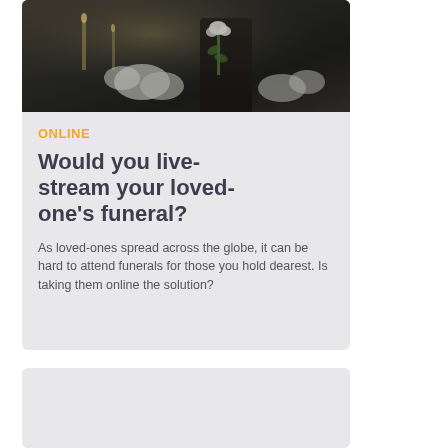[Figure (photo): A person in dark formal attire holding white flowers at what appears to be a funeral or memorial service, with floral arrangements and candles visible in the background.]
ONLINE
Would you live-stream your loved-one's funeral?
As loved-ones spread across the globe, it can be hard to attend funerals for those you hold dearest. Is taking them online the solution?
[Figure (photo): Partially visible card at the bottom, content not shown.]